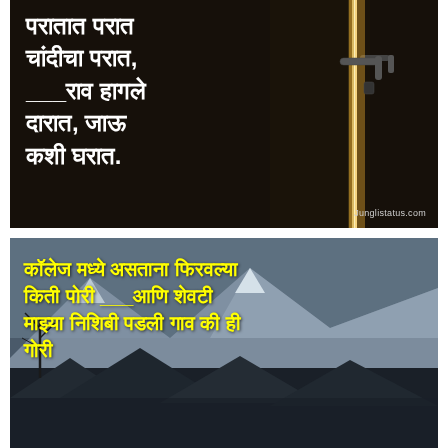[Figure (photo): Dark background image of a door with golden glowing light strip along the door edge and a door handle visible. White bold Marathi text overlaid: 'परातात परात चांदीचा परात, ___राव हागले दारात, जाऊ कशी घरात.' Watermark: Junglistatus.com]
[Figure (photo): Scenic mountain village photo with dark rooftops and misty mountains in background. Yellow bold Marathi text overlaid: 'कॉलेज मध्ये असताना फिरवल्या किती पोरी ___आणि शेवटी माझ्या निशिबी पडली गाव की ही गोरी']